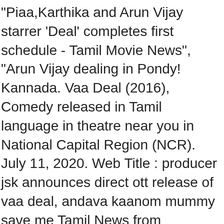"Piaa,Karthika and Arun Vijay starrer 'Deal' completes first schedule - Tamil Movie News", "Arun Vijay dealing in Pondy! Kannada. Vaa Deal (2016), Comedy released in Tamil language in theatre near you in National Capital Region (NCR). July 11, 2020. Web Title : producer jsk announces direct ott release of vaa deal, andava kaanom mummy save me Tamil News from Samayam Tamil, TIL NetworkGet Tamil Cinema News, Kollywood News, Tamil Movie News, Celebrity Gossips in Tamil, Cinema News, Tamil Movie Reviews, Tamil Movie Trailer, Teasers. is a 2016 Indian Tamil language romantic comedy film directed by Dhanapal Padmanaban. The film starring Arun Vijay and Karthika Nair..... .View more! The film stars Pradeep Antony, TJ Bhanu, Aahrav, Diva Dhawan, Nithya, Sreeja, Inmozhi, Mayura, Babu. Arun Vijay's Vaa Deal